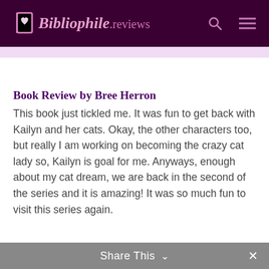Bibliophile.reviews
Book Review by Bree Herron
This book just tickled me. It was fun to get back with Kailyn and her cats. Okay, the other characters too, but really I am working on becoming the crazy cat lady so, Kailyn is goal for me. Anyways, enough about my cat dream, we are back in the second of the series and it is amazing! It was so much fun to visit this series again.
Share This ∨ ✕